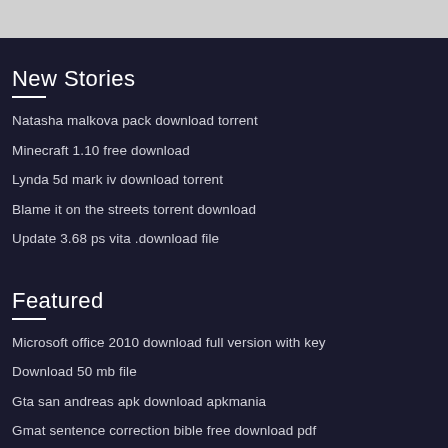New Stories
Natasha malkova pack download torrent
Minecraft 1.10 free download
Lynda 5d mark iv download torrent
Blame it on the streets torrent download
Update 3.68 ps vita .download file
Featured
Microsoft office 2010 download full version with key
Download 50 mb file
Gta san andreas apk download apkmania
Gmat sentence correction bible free download pdf